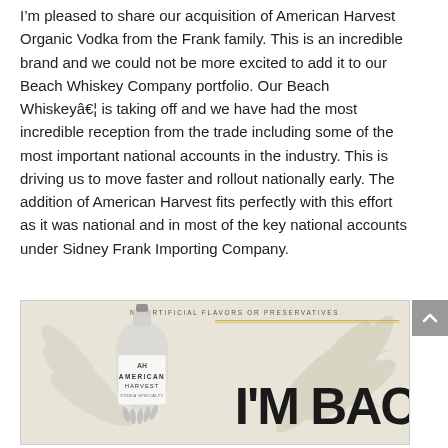I’m pleased to share our acquisition of American Harvest Organic Vodka from the Frank family. This is an incredible brand and we could not be more excited to add it to our Beach Whiskey Company portfolio. Our Beach Whiskey™ is taking off and we have had the most incredible reception from the trade including some of the most important national accounts in the industry. This is driving us to move faster and rollout nationally early. The addition of American Harvest fits perfectly with this effort as it was national and in most of the key national accounts under Sidney Frank Importing Company.
[Figure (illustration): American Harvest Organic Vodka advertisement showing a bottle of American Harvest Vodka on the left against a leafy background, with text reading 'NO ARTIFICIAL FLAVORS OR PRESERVATIVES' at the top, a yellow horizontal line, and bold text 'I'M BACK' on the right side.]